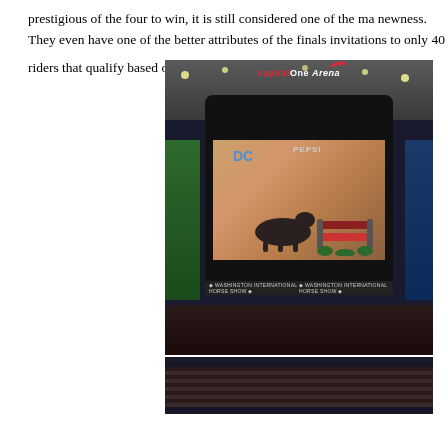prestigious of the four to win, it is still considered one of the ma... newness. They even have one of the better attributes of the finals... invitations to only 40 riders that qualify based on their points ear... period.
[Figure (photo): Interior of Capital One Arena showing the central scoreboard/jumbotron displaying a horse and rider jumping over an obstacle at the Washington International Horse Show. The large LED screen shows 'DC' branding and PEPSI advertisements. A ticker at the bottom reads 'WASHINGTON INTERNATIONAL HORSE SHOW'. A second image shows arena seating.]